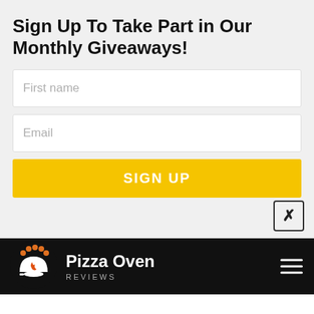Sign Up To Take Part in Our Monthly Giveaways!
First name
Email
SIGN UP
[Figure (logo): Pizza Oven Reviews logo with arch and flame icon, white on dark circle with orange dots]
Pizza Oven REVIEWS
KETOTEK Laser Thermometer